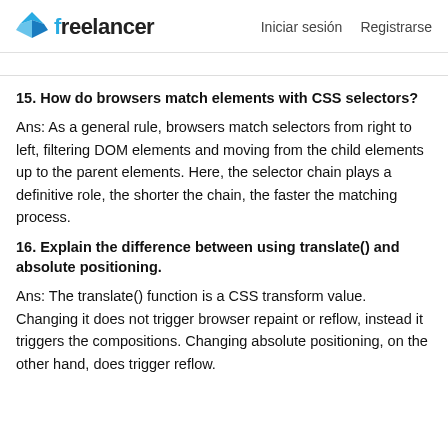freelancer | Iniciar sesión  Registrarse
...
15. How do browsers match elements with CSS selectors?
Ans: As a general rule, browsers match selectors from right to left, filtering DOM elements and moving from the child elements up to the parent elements. Here, the selector chain plays a definitive role, the shorter the chain, the faster the matching process.
16. Explain the difference between using translate() and absolute positioning.
Ans: The translate() function is a CSS transform value. Changing it does not trigger browser repaint or reflow, instead it triggers the compositions. Changing absolute positioning, on the other hand, does trigger reflow.